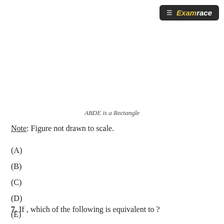Examrace
ABDE is a Rectangle
Note: Figure not drawn to scale.
(A)
(B)
(C)
(D)
(E)
7. If , which of the following is equivalent to ?